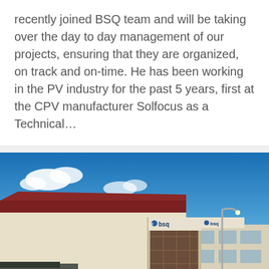recently joined BSQ team and will be taking over the day to day management of our projects, ensuring that they are organized, on track and on-time. He has been working in the PV industry for the past 5 years, first at the CPV manufacturer Solfocus as a Technical…
[Figure (photo): Exterior photograph of BSQ Solar industrial building with BSQ logo signage, blue sky with clouds, a truck on the left side and a white van parked in front]